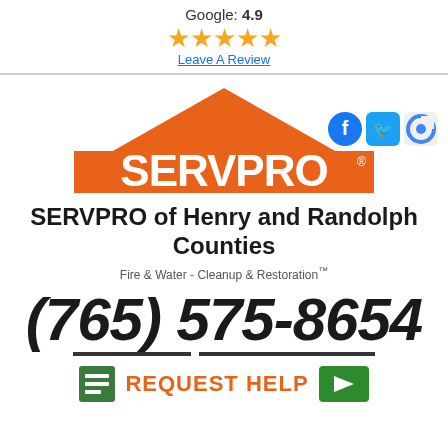Google: 4.9
[Figure (illustration): Five orange star rating icons]
Leave A Review
[Figure (logo): Social media icons: Facebook, Twitter, Google]
[Figure (logo): SERVPRO logo with orange house/roof shape and white SERVPRO text]
SERVPRO of Henry and Randolph Counties
Fire & Water - Cleanup & Restoration™
(765) 575-8654
REQUEST HELP